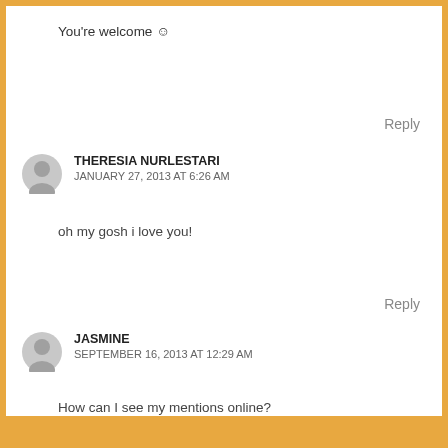You're welcome ☺
Reply
THERESIA NURLESTARI
JANUARY 27, 2013 AT 6:26 AM
oh my gosh i love you!
Reply
JASMINE
SEPTEMBER 16, 2013 AT 12:29 AM
How can I see my mentions online?
Reply